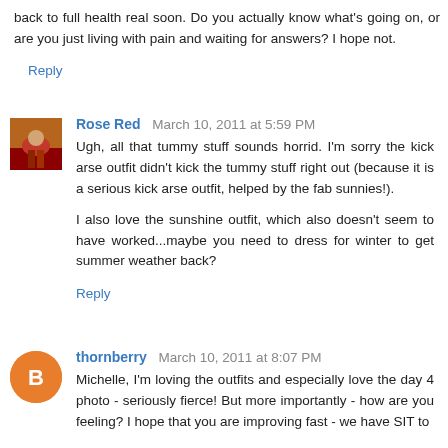back to full health real soon. Do you actually know what's going on, or are you just living with pain and waiting for answers? I hope not.
Reply
Rose Red  March 10, 2011 at 5:59 PM
Ugh, all that tummy stuff sounds horrid. I'm sorry the kick arse outfit didn't kick the tummy stuff right out (because it is a serious kick arse outfit, helped by the fab sunnies!).
I also love the sunshine outfit, which also doesn't seem to have worked...maybe you need to dress for winter to get summer weather back?
Reply
thornberry  March 10, 2011 at 8:07 PM
Michelle, I'm loving the outfits and especially love the day 4 photo - seriously fierce! But more importantly - how are you feeling? I hope that you are improving fast - we have SIT to